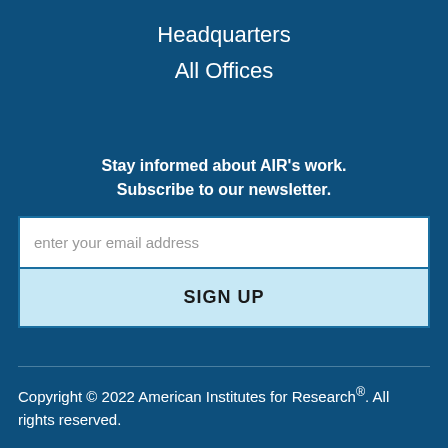Headquarters
All Offices
Stay informed about AIR's work. Subscribe to our newsletter.
enter your email address
SIGN UP
Copyright © 2022 American Institutes for Research®. All rights reserved.